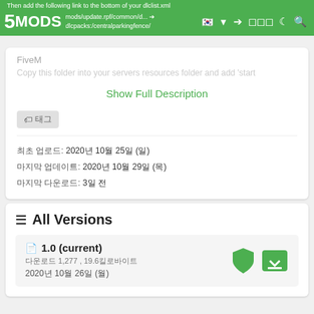Then add the following link to the bottom of your dlclist.xml  mods/update.rpf/common/d... dlcpacks:/centralparkingfence/
FiveM
Copy this folder into your servers resources folder and add 'start...
Show Full Description
태그 (tag icon)
최초 업로드: 2020년 10월 25일 (일)
마지막 업데이트: 2020년 10월 29일 (목)
마지막 다운로드: 3일 전
All Versions
1.0 (current)
다운로드 1,277 , 19.6킬로바이트
2020년 10월 26일 (월)